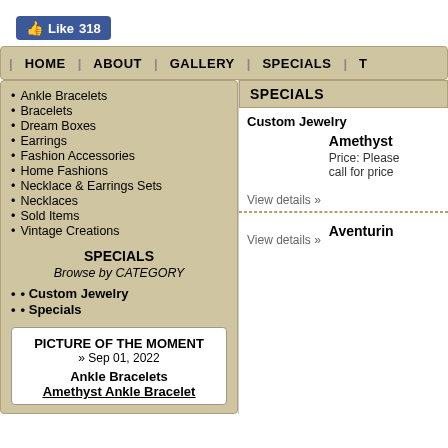[Figure (other): Facebook Like button showing 318 likes]
| HOME | ABOUT | GALLERY | SPECIALS | T
Ankle Bracelets
Bracelets
Dream Boxes
Earrings
Fashion Accessories
Home Fashions
Necklace & Earrings Sets
Necklaces
Sold Items
Vintage Creations
SPECIALS
Browse by CATEGORY
Custom Jewelry
Specials
PICTURE OF THE MOMENT
» Sep 01, 2022
Ankle Bracelets
Amethyst Ankle Bracelet
SPECIALS
Custom Jewelry
View details »
Amethyst
Price: Please call for price
View details »
Aventurin